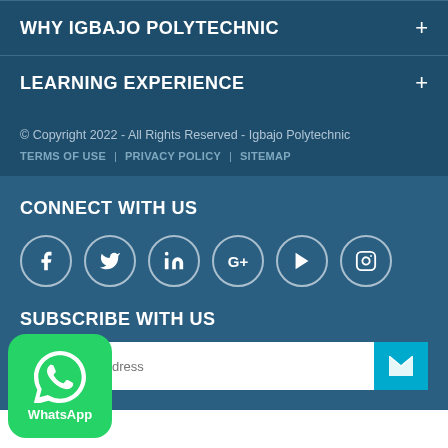WHY IGBAJO POLYTECHNIC
LEARNING EXPERIENCE
© Copyright 2022 - All Rights Reserved - Igbajo Polytechnic
TERMS OF USE | PRIVACY POLICY | SITEMAP
CONNECT WITH US
[Figure (infographic): Social media icons in circles: Facebook, Twitter, LinkedIn, Google+, YouTube, Instagram]
SUBSCRIBE WITH US
your email address (input field with send button)
[Figure (logo): WhatsApp button widget with phone icon and 'WhatsApp' label on green rounded square background]